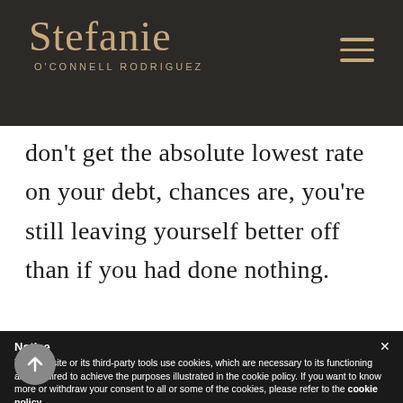Stefanie O'CONNELL RODRIGUEZ
don't get the absolute lowest rate on your debt, chances are, you're still leaving yourself better off than if you had done nothing.

Ideally yes, you want to make the best choice to maximize your savings
Notice
This website or its third-party tools use cookies, which are necessary to its functioning and required to achieve the purposes illustrated in the cookie policy. If you want to know more or withdraw your consent to all or some of the cookies, please refer to the cookie policy.
By closing this banner, scrolling this page, clicking a link or continuing to browse otherwise, you agree to the use of cookies.